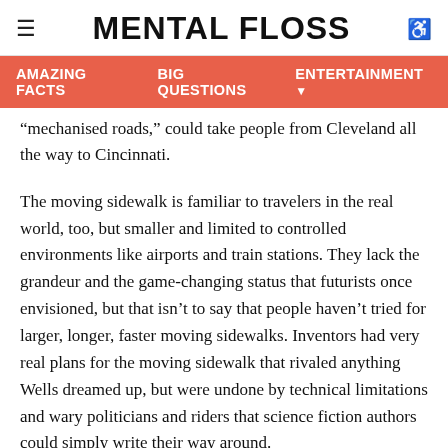MENTAL FLOSS
AMAZING FACTS   BIG QUESTIONS   ENTERTAINMENT
“mechanised roads,” could take people from Cleveland all the way to Cincinnati.
The moving sidewalk is familiar to travelers in the real world, too, but smaller and limited to controlled environments like airports and train stations. They lack the grandeur and the game-changing status that futurists once envisioned, but that isn’t to say that people haven’t tried for larger, longer, faster moving sidewalks. Inventors had very real plans for the moving sidewalk that rivaled anything Wells dreamed up, but were undone by technical limitations and wary politicians and riders that science fiction authors could simply write their way around.